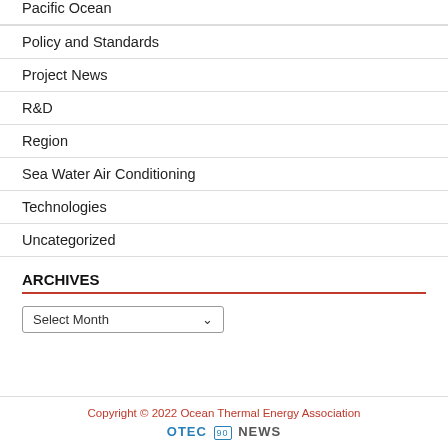Pacific Ocean
Policy and Standards
Project News
R&D
Region
Sea Water Air Conditioning
Technologies
Uncategorized
ARCHIVES
Select Month
Copyright © 2022 Ocean Thermal Energy Association
OTEC 90 NEWS